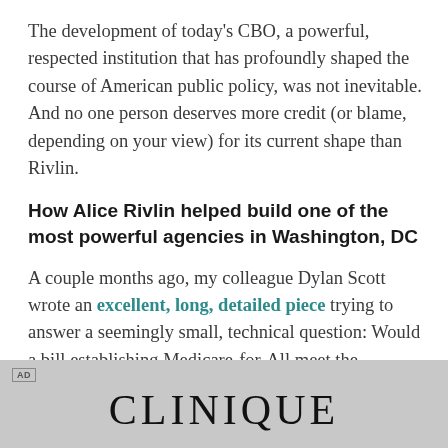The development of today's CBO, a powerful, respected institution that has profoundly shaped the course of American public policy, was not inevitable. And no one person deserves more credit (or blame, depending on your view) for its current shape than Rivlin.
How Alice Rivlin helped build one of the most powerful agencies in Washington, DC
A couple months ago, my colleague Dylan Scott wrote an excellent, long, detailed piece trying to answer a seemingly small, technical question: Would a bill establishing Medicare-for-All meet the requirements of the US budget process?
[Figure (other): Advertisement banner for CLINIQUE with gray background]